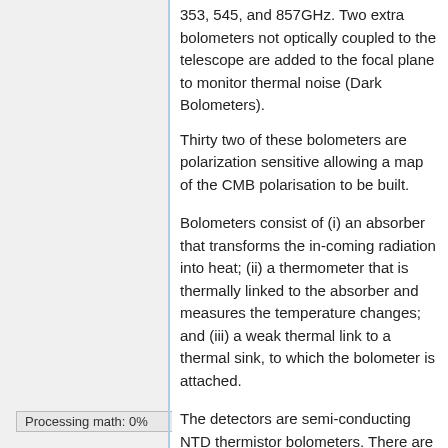353, 545, and 857GHz. Two extra bolometers not optically coupled to the telescope are added to the focal plane to monitor thermal noise (Dark Bolometers).
Thirty two of these bolometers are polarization sensitive allowing a map of the CMB polarisation to be built.
Bolometers consist of (i) an absorber that transforms the in-coming radiation into heat; (ii) a thermometer that is thermally linked to the absorber and measures the temperature changes; and (iii) a weak thermal link to a thermal sink, to which the bolometer is attached.
The detectors are semi-conducting NTD thermistor bolometers. There are two
Processing math: 0%